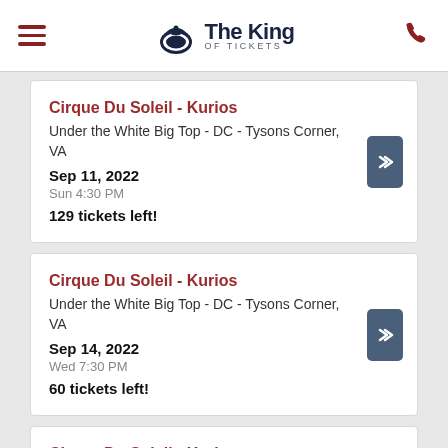The King of Tickets
Cirque Du Soleil - Kurios | Under the White Big Top - DC - Tysons Corner, VA | Sep 11, 2022 | Sun 4:30 PM | 129 tickets left!
Cirque Du Soleil - Kurios | Under the White Big Top - DC - Tysons Corner, VA | Sep 14, 2022 | Wed 7:30 PM | 60 tickets left!
Cirque Du Soleil - Kurios | Under the White Big Top - DC - Tysons Corner...